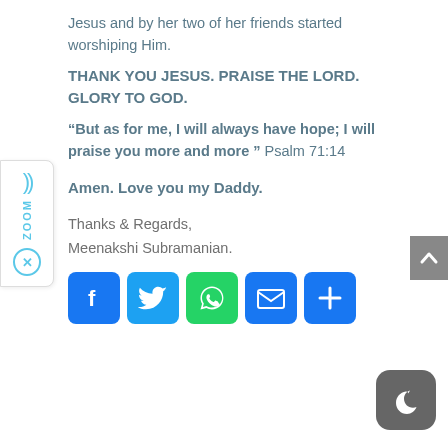Jesus and by her two of her friends started worshiping Him.
THANK YOU JESUS. PRAISE THE LORD. GLORY TO GOD.
“But as for me, I will always have hope; I will praise you more and more ” Psalm 71:14
Amen. Love you my Daddy.
Thanks & Regards,
Meenakshi Subramanian.
[Figure (infographic): Social sharing buttons: Facebook, Twitter, WhatsApp, Email, More]
[Figure (infographic): Zoom widget on left side with wave icon, ZOOM label, and close button]
[Figure (infographic): Scroll-up arrow button on right edge]
[Figure (infographic): Dark mode moon button in bottom right corner]